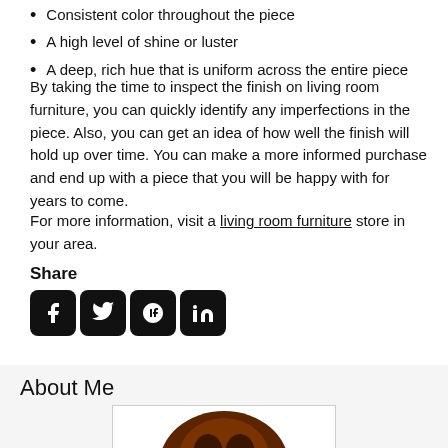Consistent color throughout the piece
A high level of shine or luster
A deep, rich hue that is uniform across the entire piece
By taking the time to inspect the finish on living room furniture, you can quickly identify any imperfections in the piece. Also, you can get an idea of how well the finish will hold up over time. You can make a more informed purchase and end up with a piece that you will be happy with for years to come.
For more information, visit a living room furniture store in your area.
Share
[Figure (other): Social media share icons: Facebook, Twitter, Google+, LinkedIn]
About Me
[Figure (photo): Photo of a person, showing dark brown silhouette/shape from the shoulders up]